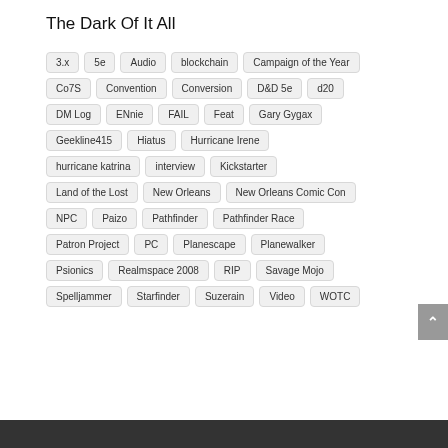The Dark Of It All
3.x
5e
Audio
blockchain
Campaign of the Year
Co7S
Convention
Conversion
D&D 5e
d20
DM Log
ENnie
FAIL
Feat
Gary Gygax
Geekline415
Hiatus
Hurricane Irene
hurricane katrina
interview
Kickstarter
Land of the Lost
New Orleans
New Orleans Comic Con
NPC
Paizo
Pathfinder
Pathfinder Race
Patron Project
PC
Planescape
Planewalker
Psionics
Realmspace 2008
RIP
Savage Mojo
Spelljammer
Starfinder
Suzerain
Video
WOTC